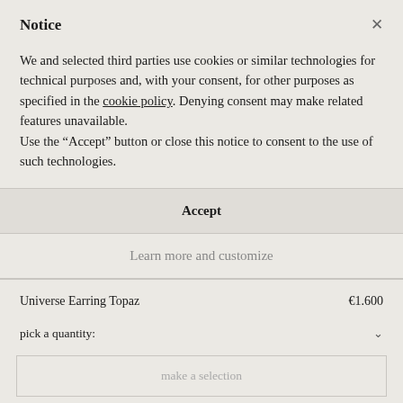Notice
We and selected third parties use cookies or similar technologies for technical purposes and, with your consent, for other purposes as specified in the cookie policy. Denying consent may make related features unavailable.
Use the “Accept” button or close this notice to consent to the use of such technologies.
Accept
Learn more and customize
Universe Earring Topaz  €1.600
pick a quantity:
make a selection